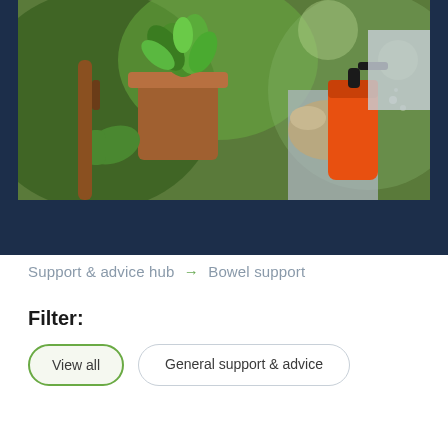[Figure (photo): Two gardeners outdoors — one holding a terracotta pot with a succulent plant wearing green gloves and a leather apron; another person in gloves holding an orange spray bottle, with green bokeh background.]
Support & advice hub → Bowel support
Filter:
View all
General support & advice